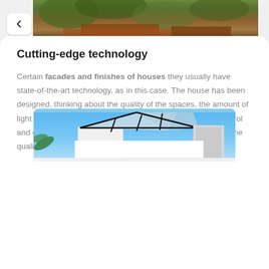[Figure (photo): Top partial image showing rooftop/foliage with warm earthy tones]
Cutting-edge technology
Certain facades and finishes of houses they usually have state-of-the-art technology, as in this case. The house has been designed, thinking about the quality of the spaces, the amount of light required, adapting the acoustic levels, with thermal control and good ventilation. All these essential aspects to improve the quality of life and health of users.
[Figure (photo): Bottom partial image showing modern house exterior with glass roof panels against blue sky]